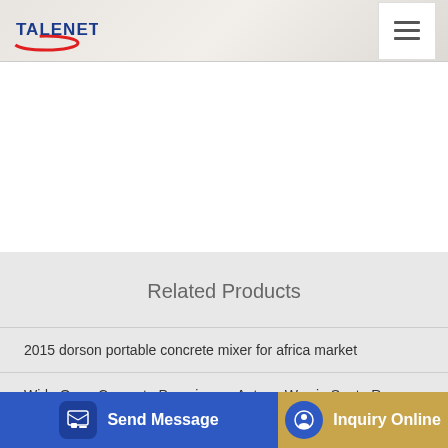TALENET
Related Products
2015 dorson portable concrete mixer for africa market
Wide Open Concrete Pumping on Anteeo Way in Santa Rosa CA
...Weigh...
Send Message | Inquiry Online